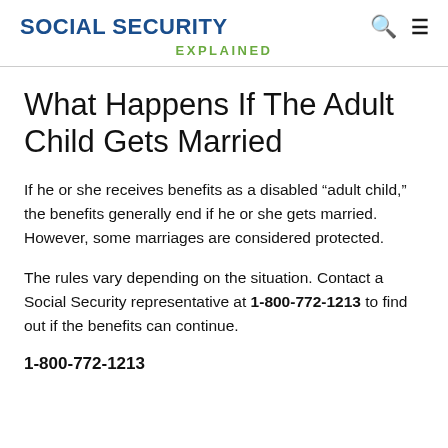SOCIAL SECURITY EXPLAINED
What Happens If The Adult Child Gets Married
If he or she receives benefits as a disabled “adult child,” the benefits generally end if he or she gets married. However, some marriages are considered protected.
The rules vary depending on the situation. Contact a Social Security representative at 1-800-772-1213 to find out if the benefits can continue.
1-800-772-1213